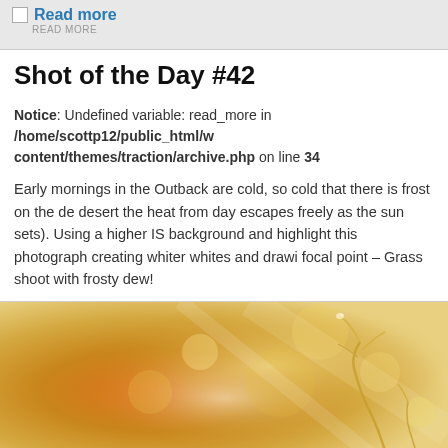Read more
Shot of the Day #42
Notice: Undefined variable: read_more in /home/scottp12/public_html/wp-content/themes/traction/archive.php on line 34
Early mornings in the Outback are cold, so cold that there is frost on the desert the heat from day escapes freely as the sun sets). Using a higher IS background and highlight this photograph creating whiter whites and drawing focal point – Grass shoot with frosty dew!
[Figure (photo): Warm golden-orange bokeh background with a grass shoot silhouette in the lower right, close-up macro photograph with frosty dew.]